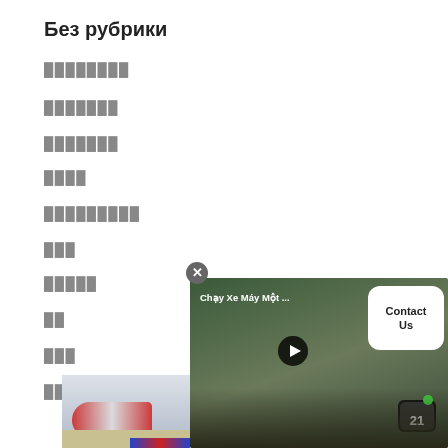Без рубрики
████████
███████
███████
████
█████████
███
█████
██
███
█████
[Figure (screenshot): Video player overlay showing 'Chạy Xe Máy Một ...' with play button, a Contact Us white rounded box, TV21 logo icon, and a close (X) button]
[Figure (photo): Partial photo of an airplane being loaded with cargo at bottom left]